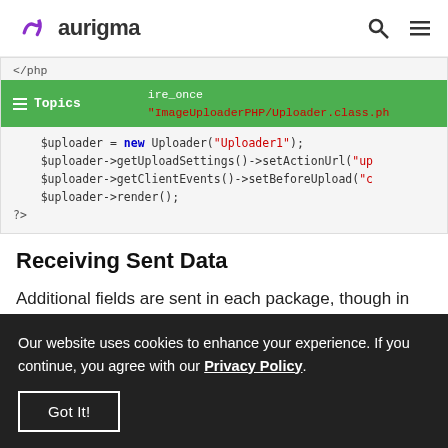aurigma
[Figure (screenshot): PHP code block showing require_once ImageUploaderPHP/Uploader.class.php, $uploader = new Uploader("Uploader1"), $uploader->getUploadSettings()->setActionUrl("up..."), $uploader->getClientEvents()->setBeforeUpload("c..."), $uploader->render(); and closing ?>]
Receiving Sent Data
Additional fields are sent in each package, though in the following example we use package containing the first file, which number is 0
Our website uses cookies to enhance your experience. If you continue, you agree with our Privacy Policy.